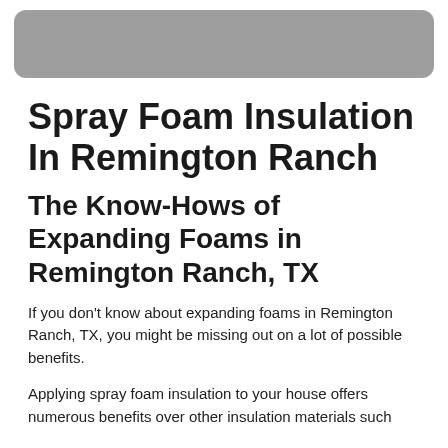Spray Foam Insulation In Remington Ranch
The Know-Hows of Expanding Foams in Remington Ranch, TX
If you don't know about expanding foams in Remington Ranch, TX, you might be missing out on a lot of possible benefits.
Applying spray foam insulation to your house offers numerous benefits over other insulation materials such